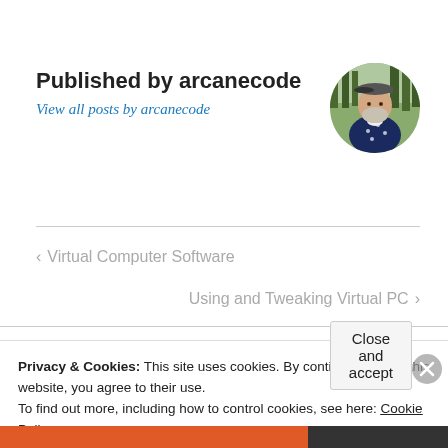Published by arcanecode
View all posts by arcanecode
[Figure (photo): Circular profile photo of a bearded man in a star-patterned dark shirt and flat cap, outdoors with trees in background]
< Virtual Computer Software
Using and Tweaking Virtual PC >
Privacy & Cookies: This site uses cookies. By continuing to use this website, you agree to their use.
To find out more, including how to control cookies, see here: Cookie Policy
Close and accept